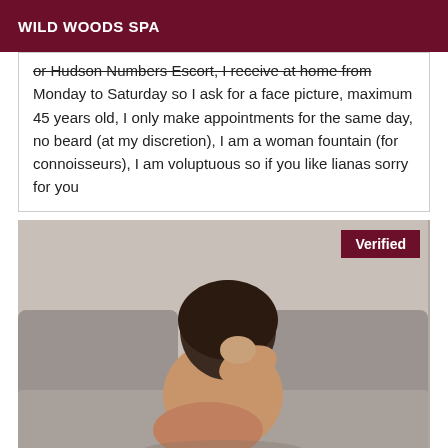WILD WOODS SPA
or Hudson Numbers Escort, I receive at home from Monday to Saturday so I ask for a face picture, maximum 45 years old, I only make appointments for the same day, no beard (at my discretion), I am a woman fountain (for connoisseurs), I am voluptuous so if you like lianas sorry for you
[Figure (photo): A person sitting on a grey couch, head down and face hidden, with a verified badge overlay in the top right corner.]